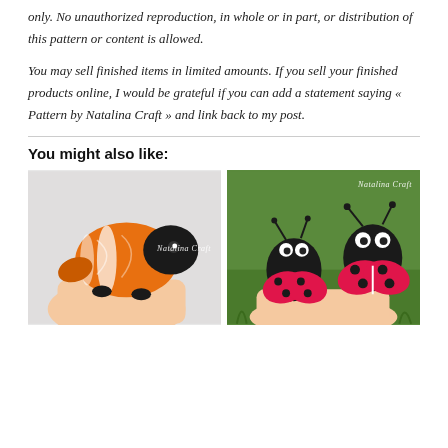only. No unauthorized reproduction, in whole or in part, or distribution of this pattern or content is allowed.
You may sell finished items in limited amounts. If you sell your finished products online, I would be grateful if you can add a statement saying « Pattern by Natalina Craft » and link back to my post.
You might also like:
[Figure (photo): A hand holding a small crocheted clownfish (orange, black and white) amigurumi. Watermark reads 'Natalina Craft'.]
[Figure (photo): Two crocheted ladybug amigurumi (black bodies with pink/red spotted wings) held in a hand over green grass background. Watermark reads 'Natalina Craft'.]